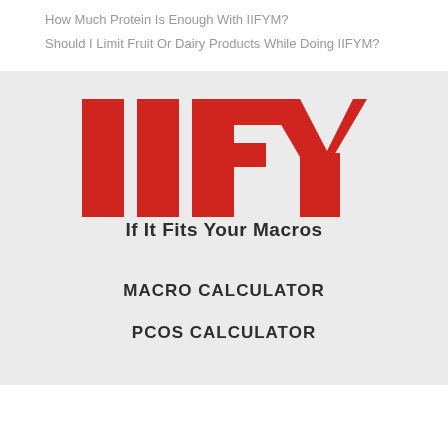How Much Protein Is Enough With IIFYM?
Should I Limit Fruit Or Dairy Products While Doing IIFYM?
[Figure (logo): IIFYM logo with large red block letters 'IIFYM' and tagline 'If It Fits Your Macros' in bold black text on light grey background]
MACRO CALCULATOR
PCOS CALCULATOR